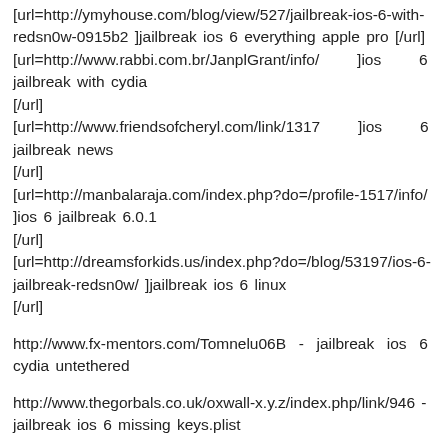[url=http://ymyhouse.com/blog/view/527/jailbreak-ios-6-with-redsn0w-0915b2 ]jailbreak ios 6 everything apple pro [/url]
[url=http://www.rabbi.com.br/JanplGrant/info/      ]ios      6 jailbreak with cydia
[/url]
[url=http://www.friendsofcheryl.com/link/1317      ]ios      6 jailbreak news
[/url]
[url=http://manbalaraja.com/index.php?do=/profile-1517/info/ ]ios 6 jailbreak 6.0.1
[/url]
[url=http://dreamsforkids.us/index.php?do=/blog/53197/ios-6-jailbreak-redsn0w/ ]jailbreak ios 6 linux
[/url]
http://www.fx-mentors.com/Tomnelu06B  -  jailbreak  ios  6  cydia untethered
http://www.thegorbals.co.uk/oxwall-x.y.z/index.php/link/946 - jailbreak ios 6 missing keys.plist